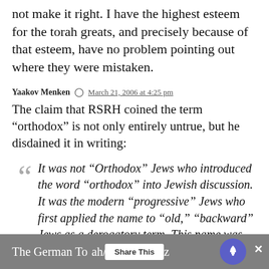not make it right. I have the highest esteem for the torah greats, and precisely because of that esteem, have no problem pointing out where they were mistaken.
Yaakov Menken  March 21, 2006 at 4:25 pm
The claim that RSRH coined the term “orthodox” is not only entirely untrue, but he disdained it in writing:
It was not “Orthodox” Jews who introduced the word “orthodox” into Jewish discussion. It was the modern “progressive” Jews who first applied the name to “old,” “backward” Jews as a derogatory term. This name was… resented by “old” Jews. And rightfully so.
The German Torah/Derech Eretz